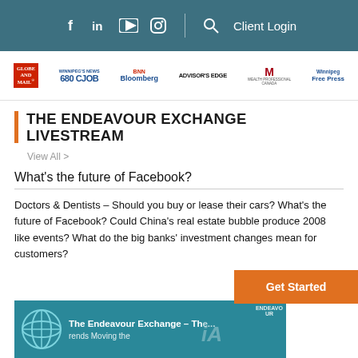f in ▶ 📷 | 🔍 Client Login
[Figure (logo): Media logos bar: Globe and Mail, 680 CJOB, BNN Bloomberg, Advisor's Edge, Wealth Professional Canada, Winnipeg Free Press]
THE ENDEAVOUR EXCHANGE LIVESTREAM
View All >
What's the future of Facebook?
Doctors & Dentists – Should you buy or lease their cars? What's the future of Facebook? Could China's real estate bubble produce 2008 like events? What do the big banks' investment changes mean for customers?
[Figure (screenshot): Video thumbnail showing The Endeavour Exchange livestream with teal globe logo and text 'The Endeavour Exchange - The... Brands Moving the...']